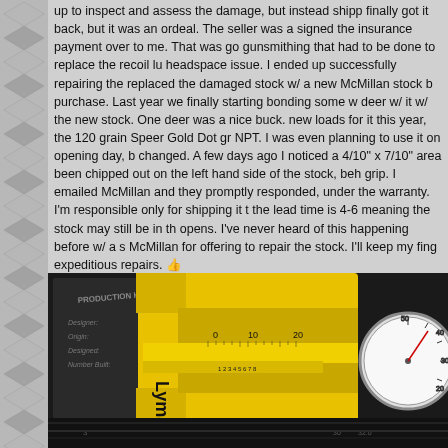up to inspect and assess the damage, but instead shipp finally got it back, but it was an ordeal. The seller was a signed the insurance payment over to me. That was go gunsmithing that had to be done to replace the recoil lu headspace issue. I ended up successfully repairing the replaced the damaged stock w/ a new McMillan stock b purchase. Last year we finally starting bonding some w deer w/ it w/ the new stock. One deer was a nice buck. new loads for it this year, the 120 grain Speer Gold Dot gr NPT. I was even planning to use it on opening day, b changed. A few days ago I noticed a 4/10" x 7/10" area been chipped out on the left hand side of the stock, beh grip. I emailed McMillan and they promptly responded, under the warranty. I'm responsible only for shipping it t the lead time is 4-6 meaning the stock may still be in th opens. I've never heard of this happening before w/ a s McMillan for offering to repair the stock. I'll keep my fing expeditious repairs. 👍
[Figure (photo): Photo of a yellow Lyman brand caliper measuring tool laid on a dark background showing a page with 'Production History' text. A circular dial gauge is visible on the right side.]